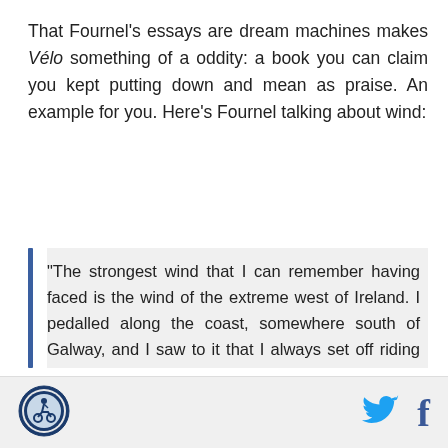That Fournel's essays are dream machines makes Vélo something of a oddity: a book you can claim you kept putting down and mean as praise. An example for you. Here's Fournel talking about wind:
"The strongest wind that I can remember having faced is the wind of the extreme west of Ireland. I pedalled along the coast, somewhere south of Galway, and I saw to it that I always set off riding against the wind to be sure that I could get back. I was alone, and it was a bitter flight. There was no forgiveness. All the things that can, elsewhere, allow you to cheat and to shelter yourself are not welcome here: no tress, no houses, no hedges, no hills. Nothing but the ocean wind — wet, powerful
[Figure (logo): Circular logo with cyclist icon, blue border]
[Figure (logo): Twitter bird icon in blue]
[Figure (logo): Facebook f icon in blue]